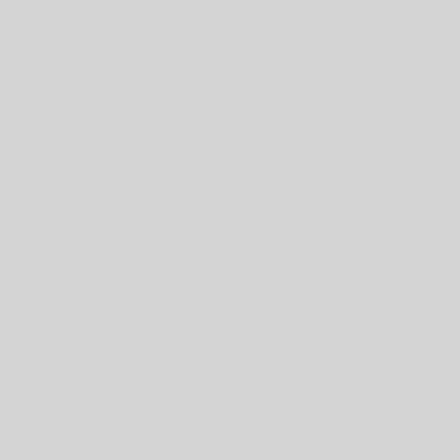| Topic | Description |
| --- | --- |
| Using cron | How to use cron to run commands periodically. |
| Backups | How we back-up your data and how you can access the saved copies. |
| Version Control | How to use version control software to host code on HCoop servers. |
|  |  |
| Frequently-Asked Questions | Answers to questions often asked about DomTool and our setup. |
| Data retention | Data retention policies upon |